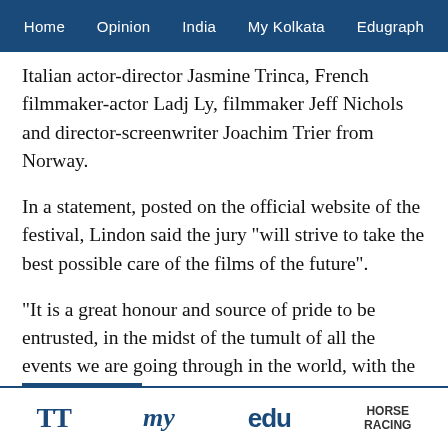Home  Opinion  India  My Kolkata  Edugraph
Italian actor-director Jasmine Trinca, French filmmaker-actor Ladj Ly, filmmaker Jeff Nichols and director-screenwriter Joachim Trier from Norway.
In a statement, posted on the official website of the festival, Lindon said the jury "will strive to take the best possible care of the films of the future".
"It is a great honour and source of pride to be entrusted, in the midst of the tumult of all the events we are going through in the world, with the splendid, weighty task of chairing the Jury of the 75th International Cannes Film Festival.
"With my jury, we will strive to take the best possible
TT  my  edu  HORSE RACING